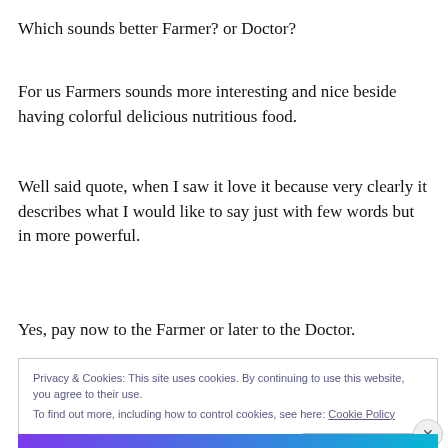Which sounds better Farmer? or Doctor?
For us Farmers sounds more interesting and nice beside having colorful delicious nutritious food.
Well said quote, when I saw it love it because very clearly it describes what I would like to say just with few words but in more powerful.
Yes, pay now to the Farmer or later to the Doctor.
Privacy & Cookies: This site uses cookies. By continuing to use this website, you agree to their use.
To find out more, including how to control cookies, see here: Cookie Policy